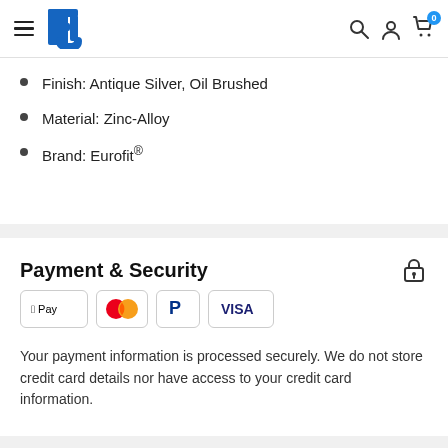FJ store header with logo, hamburger menu, search, account, and cart icons
Finish: Antique Silver, Oil Brushed
Material: Zinc-Alloy
Brand: Eurofit®
Payment & Security
[Figure (logo): Payment method icons: Apple Pay, Mastercard, PayPal, Visa]
Your payment information is processed securely. We do not store credit card details nor have access to your credit card information.